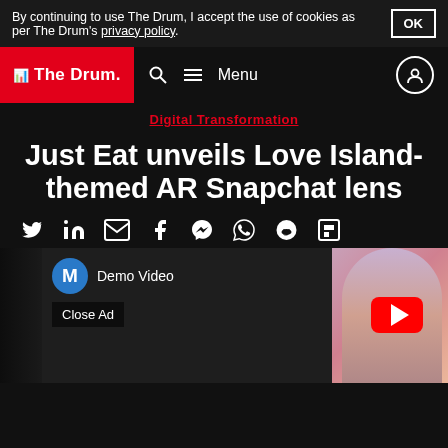By continuing to use The Drum, I accept the use of cookies as per The Drum's privacy policy. OK
The Drum — Search Menu
Digital Transformation
Just Eat unveils Love Island-themed AR Snapchat lens
Share icons: Twitter, LinkedIn, Email, Facebook, Messenger, WhatsApp, Reddit, Flipboard
[Figure (screenshot): YouTube-style video player showing Demo Video with channel avatar M and Close Ad button. Center shows a person with AR filter. Red YouTube play button visible. Right side shows video playlist and overflow menu icons, and an X close button.]